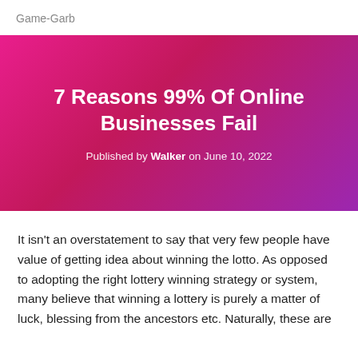Game-Garb
7 Reasons 99% Of Online Businesses Fail
Published by Walker on June 10, 2022
It isn't an overstatement to say that very few people have value of getting idea about winning the lotto. As opposed to adopting the right lottery winning strategy or system, many believe that winning a lottery is purely a matter of luck, blessing from the ancestors etc. Naturally, these are